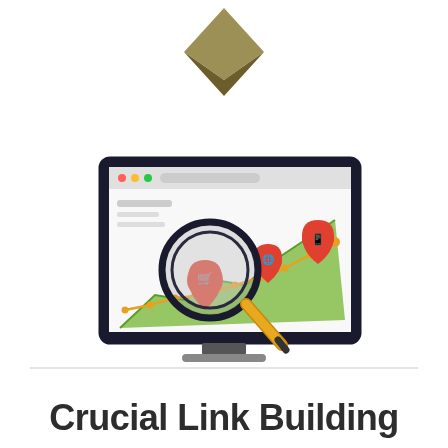[Figure (illustration): A gold/dark diamond chevron shape at the top center of the page (partial, cropped at top). Below it, a laptop/monitor illustration showing a browser window with a rising orange line chart, green area chart, a magnifying glass overlay with a red map pin and shopping cart icon, and two additional red map pins with icons (globe and mobile phone). The illustration represents SEO and link building concepts.]
Crucial Link Building